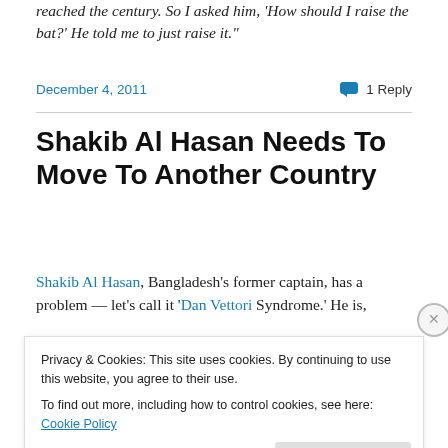reached the century. So I asked him, 'How should I raise the bat?' He told me to just raise it."
December 4, 2011
1 Reply
Shakib Al Hasan Needs To Move To Another Country
Shakib Al Hasan, Bangladesh's former captain, has a problem — let's call it 'Dan Vettori Syndrome.' He is,
Privacy & Cookies: This site uses cookies. By continuing to use this website, you agree to their use. To find out more, including how to control cookies, see here: Cookie Policy
Close and accept